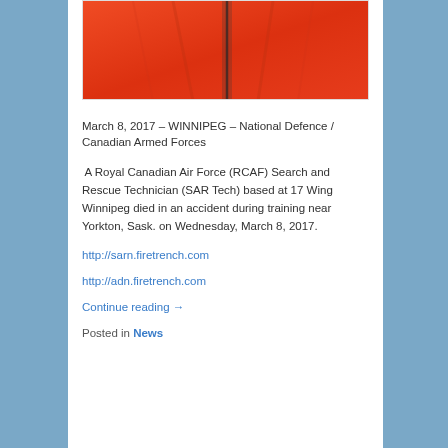[Figure (photo): Close-up of a bright orange-red jacket or suit, likely a search and rescue uniform.]
March 8, 2017 – WINNIPEG – National Defence / Canadian Armed Forces
A Royal Canadian Air Force (RCAF) Search and Rescue Technician (SAR Tech) based at 17 Wing Winnipeg died in an accident during training near Yorkton, Sask. on Wednesday, March 8, 2017.
http://sarn.firetrench.com
http://adn.firetrench.com
Continue reading →
Posted in News